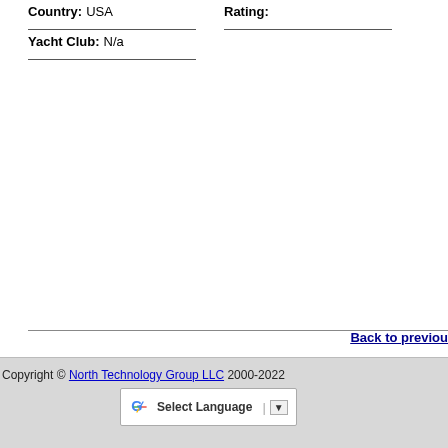Country: USA
Rating:
Yacht Club: N/a
Back to previous
Copyright © North Technology Group LLC 2000-2022  Select Language ▼